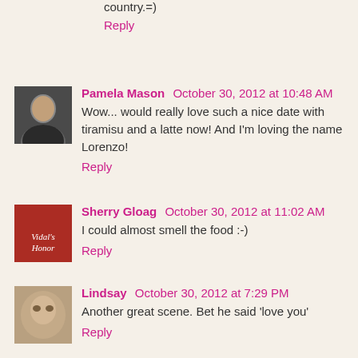country.=)
Reply
Pamela Mason  October 30, 2012 at 10:48 AM
Wow... would really love such a nice date with tiramisu and a latte now! And I'm loving the name Lorenzo!
Reply
Sherry Gloag  October 30, 2012 at 11:02 AM
I could almost smell the food :-)
Reply
Lindsay  October 30, 2012 at 7:29 PM
Another great scene. Bet he said 'love you'
Reply